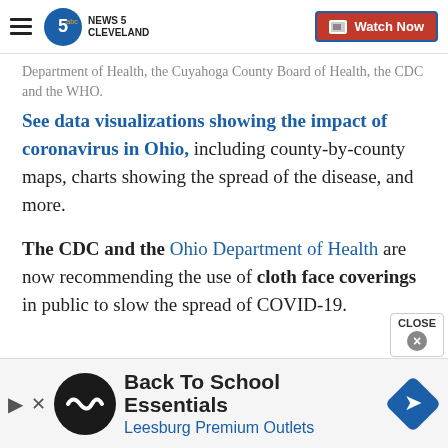NEWS 5 CLEVELAND | Watch Now
Department of Health, the Cuyahoga County Board of Health, the CDC and the WHO.
See data visualizations showing the impact of coronavirus in Ohio, including county-by-county maps, charts showing the spread of the disease, and more.
The CDC and the Ohio Department of Health are now recommending the use of cloth face coverings in public to slow the spread of COVID-19.
[Figure (screenshot): Advertisement banner for Back To School Essentials – Leesburg Premium Outlets with logo and navigation arrow icon]